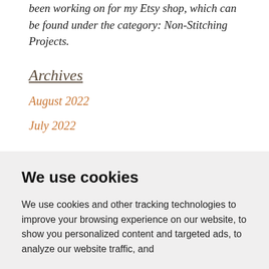been working on for my Etsy shop, which can be found under the category: Non-Stitching Projects.
Archives
August 2022
July 2022
We use cookies
We use cookies and other tracking technologies to improve your browsing experience on our website, to show you personalized content and targeted ads, to analyze our website traffic, and